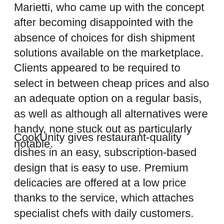Marietti, who came up with the concept after becoming disappointed with the absence of choices for dish shipment solutions available on the marketplace. Clients appeared to be required to select in between cheap prices and also an adequate option on a regular basis, as well as although all alternatives were handy, none stuck out as particularly notable.
CookUnity gives restaurant-quality dishes in an easy, subscription-based design that is easy to use. Premium delicacies are offered at a low price thanks to the service, which attaches specialist chefs with daily customers. CookUnity promotes itself as being a chef-driven facility, serving tailored dishes that are accessible to all...